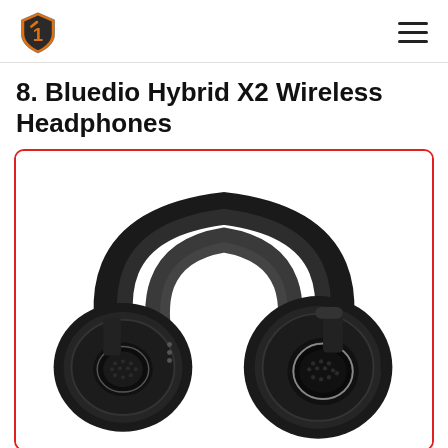Bluedio logo and navigation menu
8. Bluedio Hybrid X2 Wireless Headphones
[Figure (photo): Black over-ear wireless headphones (Bluedio Hybrid X2) shown at an angle against a white background, inside a red-bordered rounded rectangle frame.]